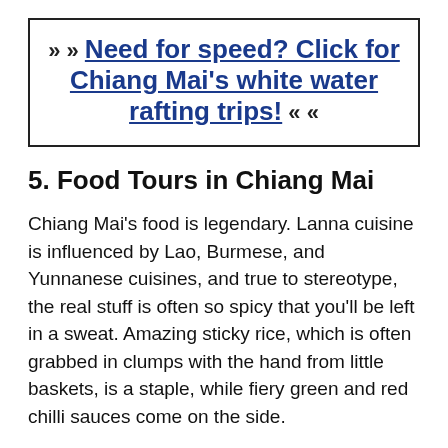» » Need for speed? Click for Chiang Mai's white water rafting trips! « «
5. Food Tours in Chiang Mai
Chiang Mai's food is legendary. Lanna cuisine is influenced by Lao, Burmese, and Yunnanese cuisines, and true to stereotype, the real stuff is often so spicy that you'll be left in a sweat. Amazing sticky rice, which is often grabbed in clumps with the hand from little baskets, is a staple, while fiery green and red chilli sauces come on the side.